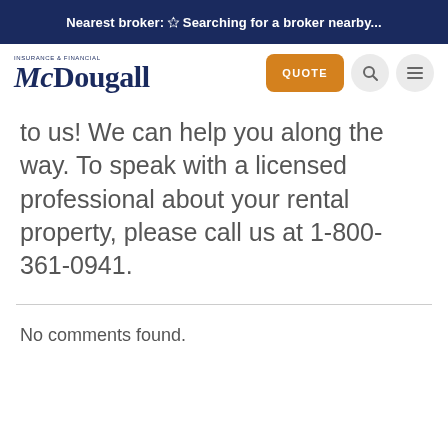Nearest broker: Searching for a broker nearby...
[Figure (logo): McDougall Insurance & Financial logo with orange QUOTE button and search/menu icons]
to us! We can help you along the way. To speak with a licensed professional about your rental property, please call us at 1-800-361-0941.
No comments found.